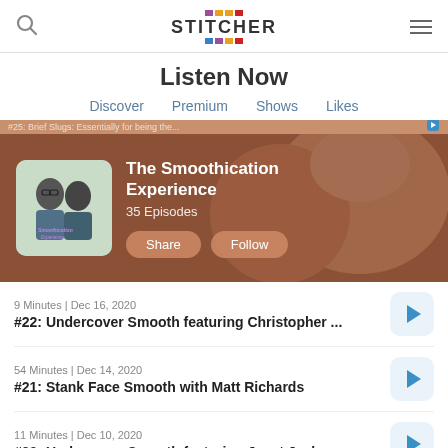Stitcher
Listen Now
Discover  Premium  Shows  Likes
[Figure (screenshot): The Smoothication Experience podcast banner with artwork showing two men, title, 35 Episodes, Share and Follow buttons on a brown background]
9 Minutes | Dec 16, 2020
#22: Undercover Smooth featuring Christopher ...
54 Minutes | Dec 14, 2020
#21: Stank Face Smooth with Matt Richards
11 Minutes | Dec 10, 2020
#20: Undercover Smooth featuring Janet Jackson